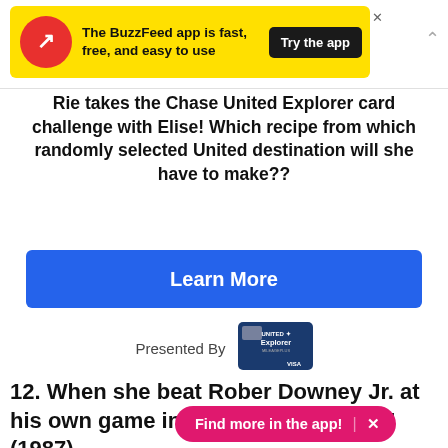[Figure (screenshot): BuzzFeed app advertisement banner with yellow background, BuzzFeed arrow logo in red circle, text 'The BuzzFeed app is fast, free, and easy to use', and black 'Try the app' button]
Rie takes the Chase United Explorer card challenge with Elise! Which recipe from which randomly selected United destination will she have to make??
[Figure (other): Blue 'Learn More' button]
Presented By
[Figure (other): United Explorer Visa credit card image]
12. When she beat Rober Downey Jr. at his own game in "The Pick-up Artist" (1987).
[Figure (other): Pink 'Find more in the app!' button with X close icon]